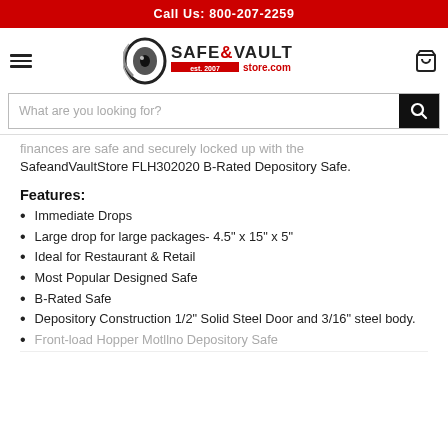Call Us: 800-207-2259
[Figure (logo): Safe & Vault Store.com logo with circular eye graphic, est. 2007]
What are you looking for?
...finances are safe and securely locked up with the SafeandVaultStore FLH302020 B-Rated Depository Safe.
Features:
Immediate Drops
Large drop for large packages- 4.5" x 15" x 5"
Ideal for Restaurant & Retail
Most Popular Designed Safe
B-Rated Safe
Depository Construction 1/2" Solid Steel Door and 3/16" steel body.
Front-load Hopper Motllno Depository Safe...